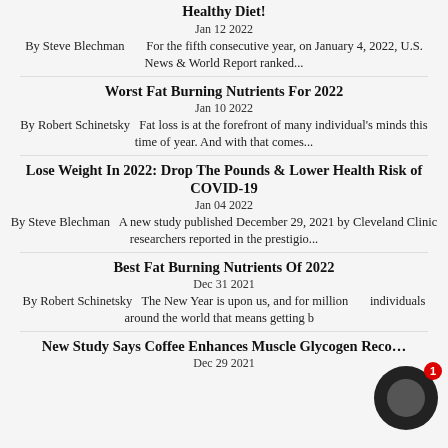Healthy Diet!
Jan 12 2022
By Steve Blechman        For the fifth consecutive year, on January 4, 2022, U.S. News & World Report ranked...
Worst Fat Burning Nutrients For 2022
Jan 10 2022
By Robert Schinetsky   Fat loss is at the forefront of many individual's minds this time of year. And with that comes...
Lose Weight In 2022: Drop The Pounds & Lower Health Risk of COVID-19
Jan 04 2022
By Steve Blechman   A new study published December 29, 2021 by Cleveland Clinic researchers reported in the prestigio...
Best Fat Burning Nutrients Of 2022
Dec 31 2021
By Robert Schinetsky   The New Year is upon us, and for millions of individuals around the world that means getting b...
New Study Says Coffee Enhances Muscle Glycogen Reco...
Dec 29 2021